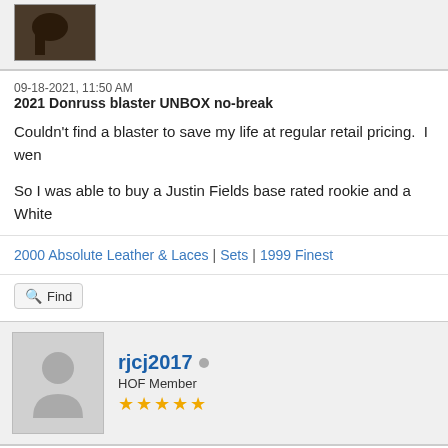[Figure (photo): Small profile avatar thumbnail showing a dark animal/horse image]
09-18-2021, 11:50 AM
2021 Donruss blaster UNBOX no-break
Couldn't find a blaster to save my life at regular retail pricing.  I wen
So I was able to buy a Justin Fields base rated rookie and a White
2000 Absolute Leather & Laces | Sets | 1999 Finest
Find
[Figure (photo): Default user avatar placeholder showing silhouette of a person]
rjcj2017
HOF Member
★★★★★
09-18-2021, 03:25 PM
RE: 2021 Donruss blaster UNBOX no-break
jplarson Wrote: